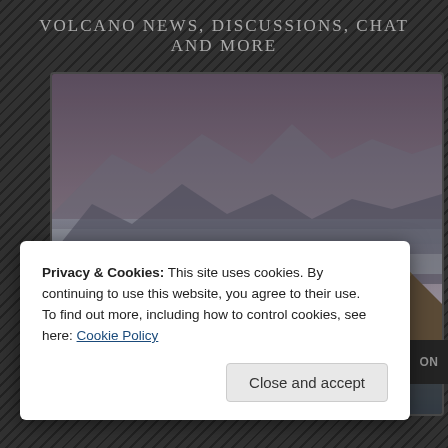Volcano News, Discussions, Chat and more
[Figure (photo): Aerial panoramic photograph of volcanic mountains with layered ridges and misty atmosphere, brown rocky terrain in foreground, blue-grey haze over distant mountain peaks]
Privacy & Cookies: This site uses cookies. By continuing to use this website, you agree to their use.
To find out more, including how to control cookies, see here: Cookie Policy